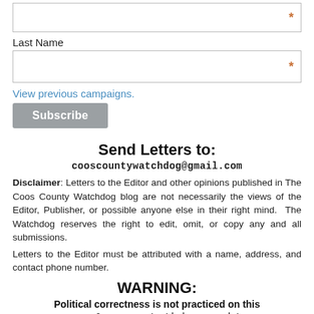[Figure (other): Input text field with orange asterisk required marker]
Last Name
[Figure (other): Input text field with orange asterisk required marker]
View previous campaigns.
Subscribe
Send Letters to:
cooscountywatchdog@gmail.com
Disclaimer: Letters to the Editor and other opinions published in The Coos County Watchdog blog are not necessarily the views of the Editor, Publisher, or possible anyone else in their right mind.  The Watchdog reserves the right to edit, omit, or copy any and all submissions.
Letters to the Editor must be attributed with a name, address, and contact phone number.
WARNING:
Political correctness is not practiced on this page & some content is inappropriate